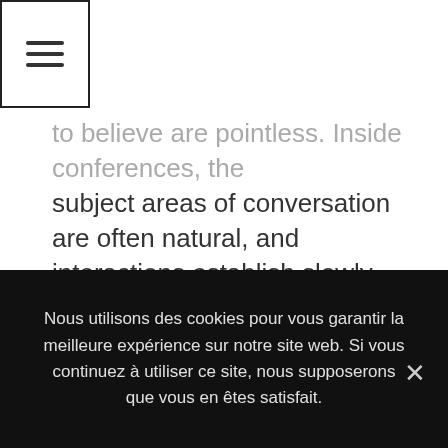[Figure (other): Hamburger menu icon in a bordered square box]
to believe are pointless. Inside conferences, the subject areas of conversation are often natural, and interactions establish slowly. Should you want to make an effective perception on a German lady, no one should inquire the lady about private factors from the start. Within nation, folks have rigid limitations of individual area, so they really commonly predisposed to discuss personal life or open-heart to strangers.
After the first appointment, a guy frequently proposes to buy the girl. Lots of emancipated girls
Nous utilisons des cookies pour vous garantir la meilleure expérience sur notre site web. Si vous continuez à utiliser ce site, nous supposerons que vous en êtes satisfait.